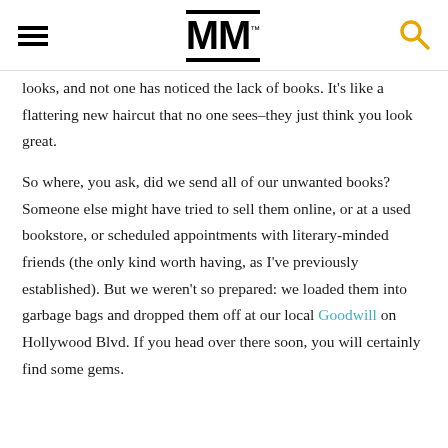MM™
looks, and not one has noticed the lack of books.  It's like a flattering new haircut that no one sees–they just think you look great.

So where, you ask, did we send all of our unwanted books?  Someone else might have tried to sell them online, or at a used bookstore, or scheduled appointments with literary-minded friends (the only kind worth having, as I've previously established).  But we weren't so prepared: we loaded them into garbage bags and dropped them off at our local Goodwill on Hollywood Blvd.   If you head over there soon, you will certainly find some gems.